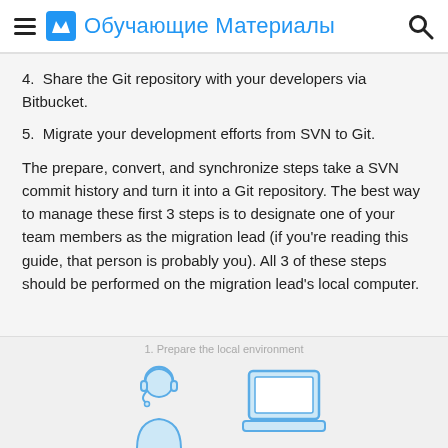Обучающие Материалы
4. Share the Git repository with your developers via Bitbucket.
5. Migrate your development efforts from SVN to Git.
The prepare, convert, and synchronize steps take a SVN commit history and turn it into a Git repository. The best way to manage these first 3 steps is to designate one of your team members as the migration lead (if you're reading this guide, that person is probably you). All 3 of these steps should be performed on the migration lead's local computer.
1. Prepare the local environment
[Figure (illustration): Two icons: a person with headset (support/user icon) and a laptop/computer icon, both drawn in outline style with light blue fill]